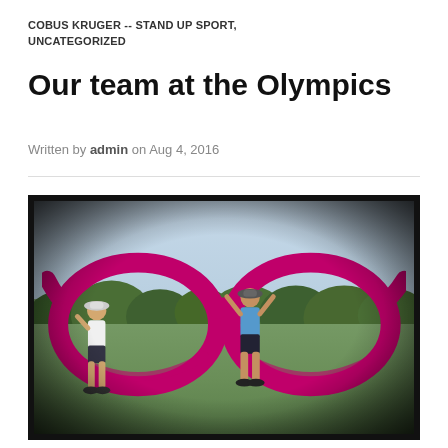COBUS KRUGER -- STAND UP SPORT, UNCATEGORIZED
Our team at the Olympics
Written by admin on Aug 4, 2016
[Figure (photo): Two people standing inside a giant pink/magenta oversized sunglasses sculpture in an outdoor field with green grass and trees in the background. One person on the left stands near the frame, the other on the right has arms raised. Photo has a dark vignette border giving a film/polaroid effect.]